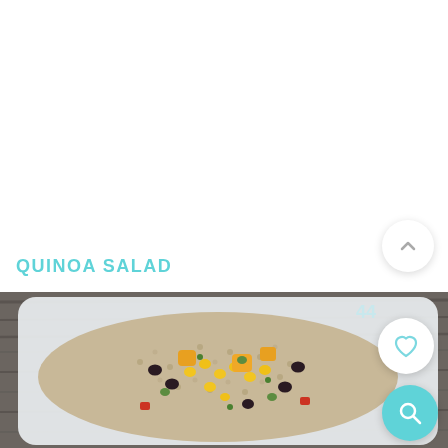QUINOA SALAD
[Figure (photo): A white square bowl filled with quinoa salad containing corn, black beans, mango chunks, edamame, and red peppers on a wooden surface. Below is a partial view of another white bowl with a similar salad.]